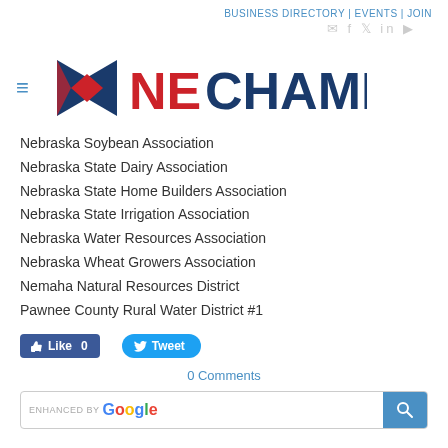BUSINESS DIRECTORY | EVENTS | JOIN
[Figure (logo): NE Chamber logo with bowtie icon in red/blue and NECHAMBER text in red and dark blue]
Nebraska Soybean Association
Nebraska State Dairy Association
Nebraska State Home Builders Association
Nebraska State Irrigation Association
Nebraska Water Resources Association
Nebraska Wheat Growers Association
Nemaha Natural Resources District
Pawnee County Rural Water District #1
[Figure (screenshot): Like 0 button (Facebook blue) and Tweet button (Twitter blue)]
0 Comments
[Figure (screenshot): Enhanced by Google search bar with blue search button]